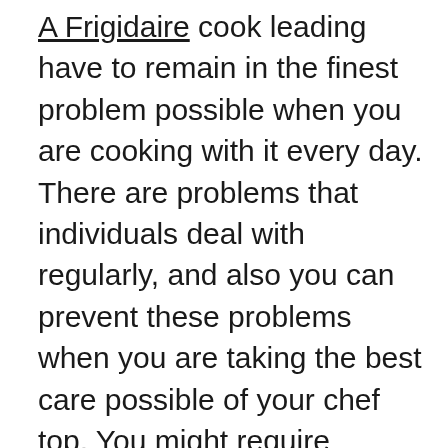A Frigidaire cook leading have to remain in the finest problem possible when you are cooking with it every day. There are problems that individuals deal with regularly, and also you can prevent these problems when you are taking the best care possible of your chef top. You might require Frigidaire device fixing service, yet you need to comprehend what is happening with the chef top when it starts acting amusing. These 4 normal repair work tips will certainly help you keep an eye on the gadget for